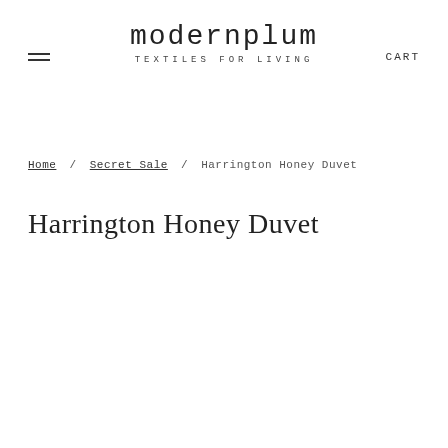modernplum TEXTILES FOR LIVING  CART
Home / Secret Sale / Harrington Honey Duvet
Harrington Honey Duvet